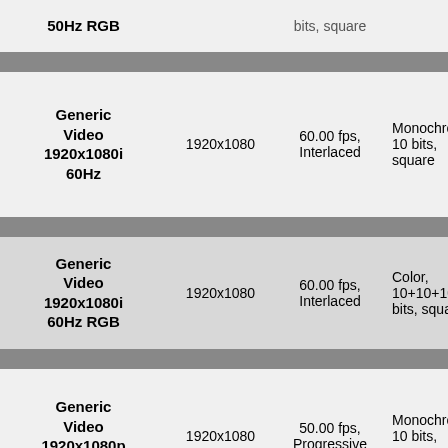| Name | Resolution | Frame Rate | Color Format | Links |
| --- | --- | --- | --- | --- |
| 50Hz RGB |  | bits, square | Ex |
| Generic Video 1920x1080i 60Hz | 1920x1080 | 60.00 fps, Interlaced | Monochrome, 10 bits, square | PIX
A3
Ex
PIX
A1
Ex |
| Generic Video 1920x1080i 60Hz RGB | 1920x1080 | 60.00 fps, Interlaced | Color, 10+10+10 bits, square | PIX
A3
Ex |
| Generic Video 1920x1080p 50Hz | 1920x1080 | 50.00 fps, Progressive | Monochrome, 10 bits, square | PIX
A3
Ex
PIX
A1 |